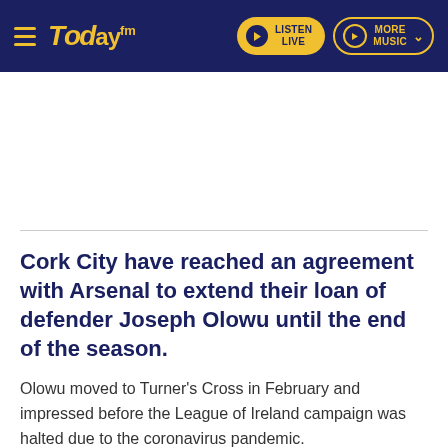TODAY FM — LISTEN LIVE | MORE MUSIC
Cork City have reached an agreement with Arsenal to extend their loan of defender Joseph Olowu until the end of the season.
Olowu moved to Turner's Cross in February and impressed before the League of Ireland campaign was halted due to the coronavirus pandemic.